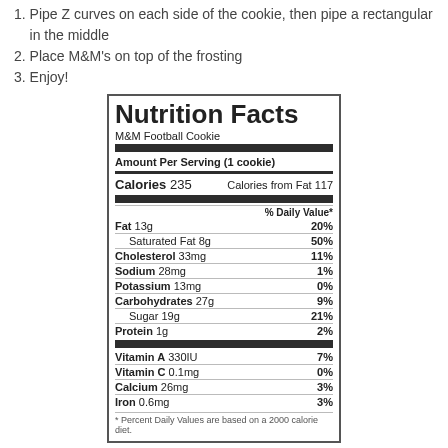1. Pipe Z curves on each side of the cookie, then pipe a rectangular in the middle
2. Place M&M's on top of the frosting
3. Enjoy!
| Nutrient | Amount | % Daily Value |
| --- | --- | --- |
| Amount Per Serving (1 cookie) |  |  |
| Calories | 235 | Calories from Fat 117 |
| Fat 13g |  | 20% |
| Saturated Fat 8g |  | 50% |
| Cholesterol 33mg |  | 11% |
| Sodium 28mg |  | 1% |
| Potassium 13mg |  | 0% |
| Carbohydrates 27g |  | 9% |
| Sugar 19g |  | 21% |
| Protein 1g |  | 2% |
| Vitamin A 330IU |  | 7% |
| Vitamin C 0.1mg |  | 0% |
| Calcium 26mg |  | 3% |
| Iron 0.6mg |  | 3% |
* Percent Daily Values are based on a 2000 calorie diet.